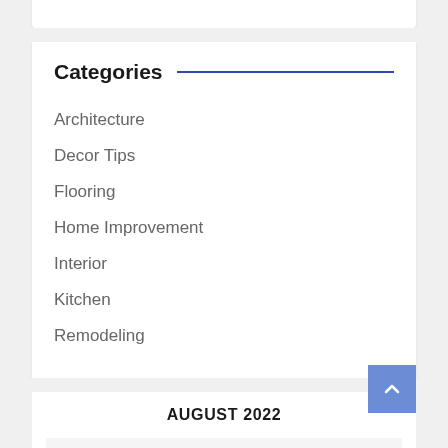Categories
Architecture
Decor Tips
Flooring
Home Improvement
Interior
Kitchen
Remodeling
| M | T | W | T | F | S | S |
| --- | --- | --- | --- | --- | --- | --- |